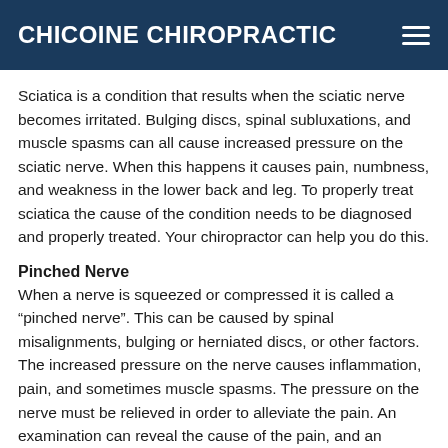CHICOINE CHIROPRACTIC
Sciatica is a condition that results when the sciatic nerve becomes irritated. Bulging discs, spinal subluxations, and muscle spasms can all cause increased pressure on the sciatic nerve. When this happens it causes pain, numbness, and weakness in the lower back and leg. To properly treat sciatica the cause of the condition needs to be diagnosed and properly treated. Your chiropractor can help you do this.
Pinched Nerve
When a nerve is squeezed or compressed it is called a “pinched nerve”. This can be caused by spinal misalignments, bulging or herniated discs, or other factors. The increased pressure on the nerve causes inflammation, pain, and sometimes muscle spasms. The pressure on the nerve must be relieved in order to alleviate the pain. An examination can reveal the cause of the pain, and an